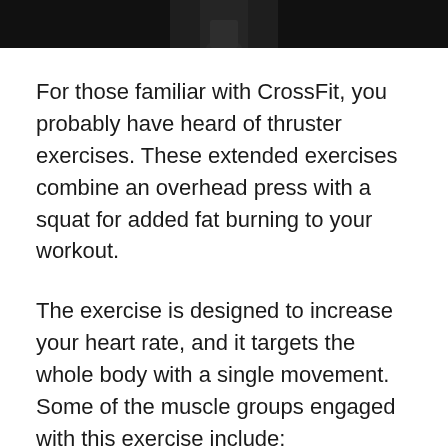[Figure (photo): Partial photo of a person in athletic wear against a dark background, cropped at the top of the page]
For those familiar with CrossFit, you probably have heard of thruster exercises. These extended exercises combine an overhead press with a squat for added fat burning to your workout.
The exercise is designed to increase your heart rate, and it targets the whole body with a single movement. Some of the muscle groups engaged with this exercise include: